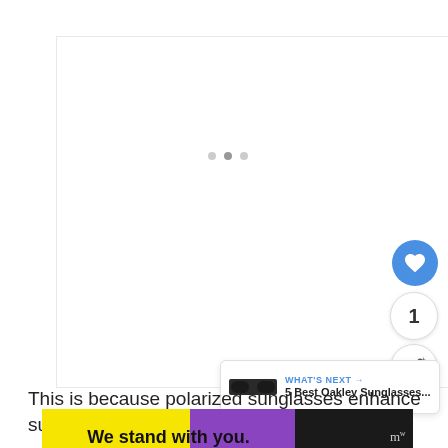[Figure (photo): Large white product image area with three navigation dots indicating a carousel of product images]
[Figure (screenshot): Blue circular heart/like button, count badge showing 1, and share button on the right side]
[Figure (screenshot): What's Next panel showing sunglasses thumbnail and text '5 Best Oakley Sunglasses...' with arrow]
This is because polarized sunglasses enhance su... me°
[Figure (screenshot): Advertisement overlay with yellow, purple, and black sections showing 'We stand with you.' text with close X button]